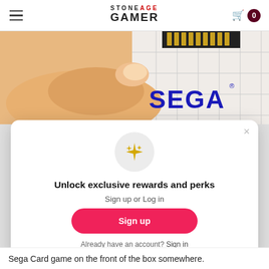Stone Age Gamer — navigation header with hamburger menu and cart
[Figure (photo): A hand holding a small circuit board/cartridge connector with gold pins, against a white grid background. The SEGA logo is visible on the right side of the image.]
Unlock exclusive rewards and perks
Sign up or Log in
Sign up
Already have an account? Sign in
Sega Card game on the front of the box somewhere.